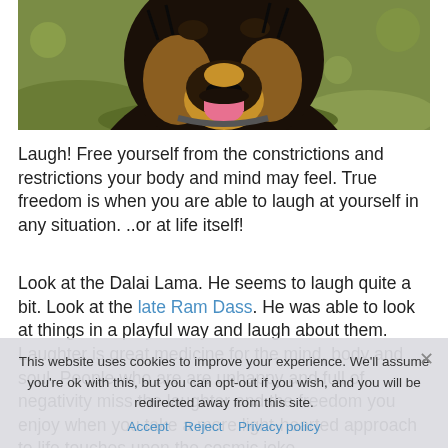[Figure (photo): Close-up photo of a dark fluffy dog with mouth open and tongue visible, on a green grassy background]
Laugh! Free yourself from the constrictions and restrictions your body and mind may feel. True freedom is when you are able to laugh at yourself in any situation. ..or at life itself!
Look at the Dalai Lama. He seems to laugh quite a bit. Look at the late Ram Dass. He was able to look at things in a playful way and laugh about them. Laughter is great medicine for the mind, body and soul. People who are are unhappy and full of negativity miss the laughter and the freedom you enjoy when you take a more light-hearted approach to life touches upon the cosmic joke.
This website uses cookies to improve your experience. We'll assume you're ok with this, but you can opt-out if you wish, and you will be redirected away from this site.
Accept  Reject  Privacy policy